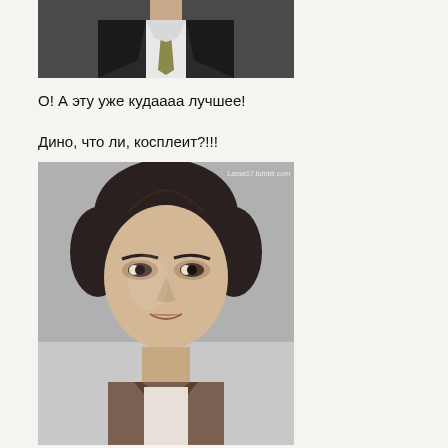[Figure (photo): Top portion of a photo showing a man in a dark suit with a tie, cropped at the torso/shoulder level]
О! А эту уже кудаааа лучшее!
Дино, что ли, косплеит?!!!
[Figure (photo): Black and white portrait headshot of a young man with dark hair, looking directly at the camera, wearing an open-collar shirt. Watermark: Lasse17.tumblr.com]